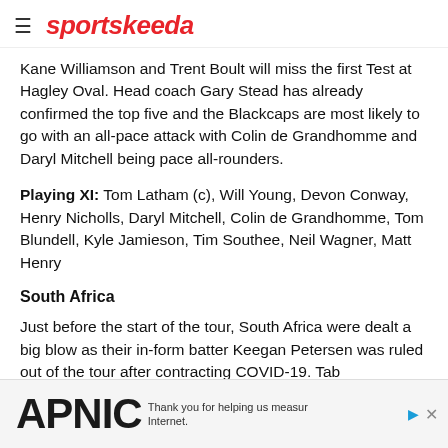sportskeeda
Kane Williamson and Trent Boult will miss the first Test at Hagley Oval. Head coach Gary Stead has already confirmed the top five and the Blackcaps are most likely to go with an all-pace attack with Colin de Grandhomme and Daryl Mitchell being pace all-rounders.
Playing XI: Tom Latham (c), Will Young, Devon Conway, Henry Nicholls, Daryl Mitchell, Colin de Grandhomme, Tom Blundell, Kyle Jamieson, Tim Southee, Neil Wagner, Matt Henry
South Africa
Just before the start of the tour, South Africa were dealt a big blow as their in-form batter Keegan Petersen was ruled out of the tour after contracting COVID-19. Tab
[Figure (other): APNIC advertisement banner at the bottom of the page reading 'Thank you for helping us measure the Internet.']